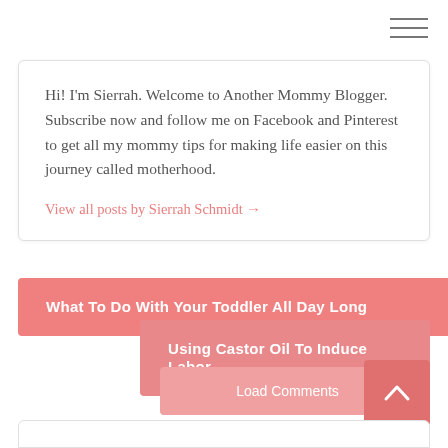Hi! I'm Sierrah. Welcome to Another Mommy Blogger. Subscribe now and follow me on Facebook and Pinterest to get all my mommy tips for making life easier on this journey called motherhood.
View all posts by Sierrah Schmidt →
What To Do With Your Toddler All Day Long
Using Castor Oil To Induce Labor
Load Comments